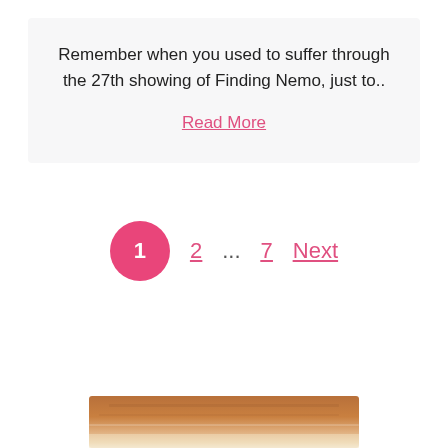Remember when you used to suffer through the 27th showing of Finding Nemo, just to..
Read More
1  2  ...  7  Next
[Figure (photo): Blurred photo of what appears to be a wooden table or surface, partially visible at the bottom of the page.]